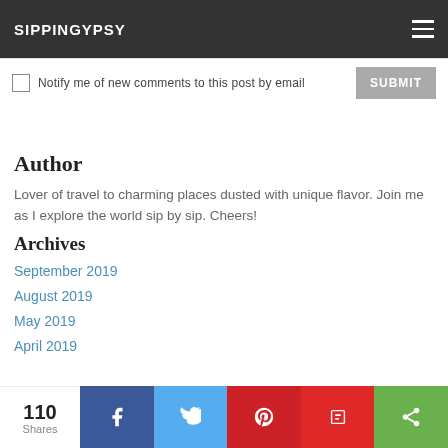SIPPINGYPSY
Notify me of new comments to this post by email  SUBMIT
Author
Lover of  travel to charming places dusted with unique flavor. Join me as I explore the world sip by sip. Cheers!
Archives
September 2019
August 2019
May 2019
April 2019
110 Shares